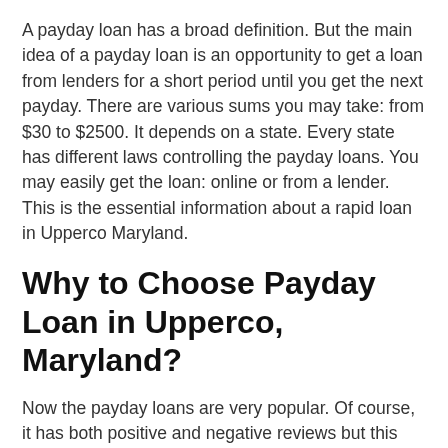A payday loan has a broad definition. But the main idea of a payday loan is an opportunity to get a loan from lenders for a short period until you get the next payday. There are various sums you may take: from $30 to $2500. It depends on a state. Every state has different laws controlling the payday loans. You may easily get the loan: online or from a lender. This is the essential information about a rapid loan in Upperco Maryland.
Why to Choose Payday Loan in Upperco, Maryland?
Now the payday loans are very popular. Of course, it has both positive and negative reviews but this way of getting money is still very convenient and a good idea to solve some budget issues. Sometimes a constant